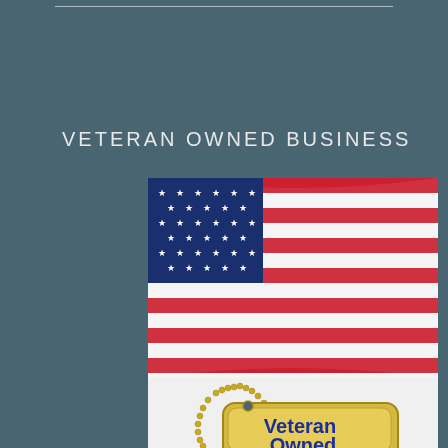VETERAN OWNED BUSINESS
[Figure (illustration): An American flag waving in the background with a gold military dog tag in the foreground that reads 'Veteran Owned' in bold blue text on a gold/cream colored tag with a gold chain.]